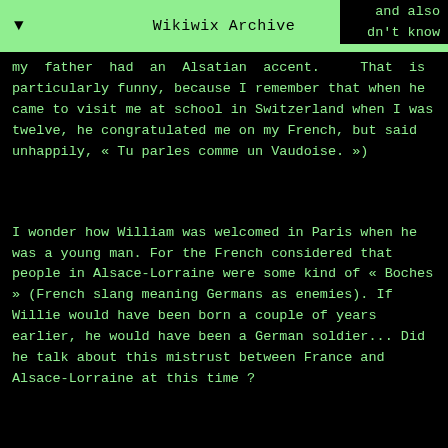Wikiwix Archive
and also dn't know my father had an Alsatian accent. That is particularly funny, because I remember that when he came to visit me at school in Switzerland when I was twelve, he congratulated me on my French, but said unhappily, « Tu parles comme un Vaudoise. »)
I wonder how William was welcomed in Paris when he was a young man. For the French considered that people in Alsace-Lorraine were some kind of « Boches » (French slang meaning Germans as enemies). If Willie would have been born a couple of years earlier, he would have been a German soldier... Did he talk about this mistrust between France and Alsace-Lorraine at this time ?
No. Interesting question, though, about his becoming a German soldier. I cannot imagine that his parents